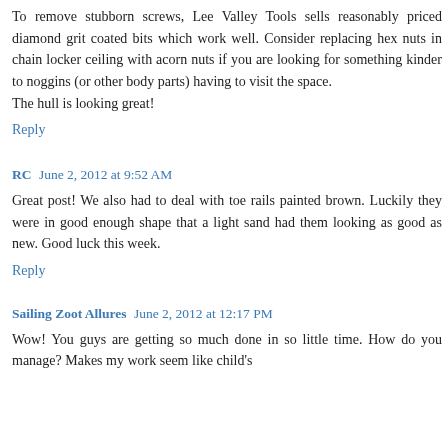To remove stubborn screws, Lee Valley Tools sells reasonably priced diamond grit coated bits which work well. Consider replacing hex nuts in chain locker ceiling with acorn nuts if you are looking for something kinder to noggins (or other body parts) having to visit the space. The hull is looking great!
Reply
RC  June 2, 2012 at 9:52 AM
Great post! We also had to deal with toe rails painted brown. Luckily they were in good enough shape that a light sand had them looking as good as new. Good luck this week.
Reply
Sailing Zoot Allures  June 2, 2012 at 12:17 PM
Wow! You guys are getting so much done in so little time. How do you manage? Makes my work seem like child's